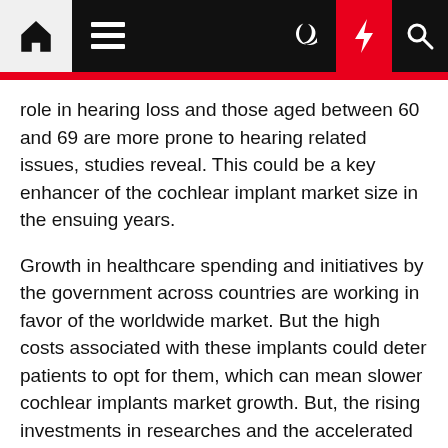Navigation bar with home, menu, moon, bolt, and search icons
role in hearing loss and those aged between 60 and 69 are more prone to hearing related issues, studies reveal. This could be a key enhancer of the cochlear implant market size in the ensuing years.
Growth in healthcare spending and initiatives by the government across countries are working in favor of the worldwide market. But the high costs associated with these implants could deter patients to opt for them, which can mean slower cochlear implants market growth. But, the rising investments in researches and the accelerated number of clinical trials can ensure uninterrupted cochlear implants market growth over the evaluation period. Additionally, increasing FDA approvals are encouraging firms to introduce new and more advanced cochlear implants into the market.